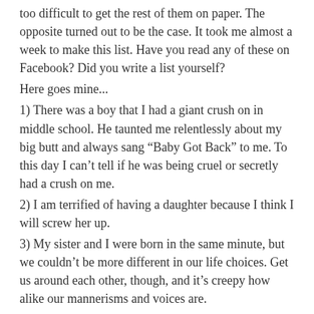too difficult to get the rest of them on paper. The opposite turned out to be the case. It took me almost a week to make this list. Have you read any of these on Facebook? Did you write a list yourself?
Here goes mine...
1) There was a boy that I had a giant crush on in middle school. He taunted me relentlessly about my big butt and always sang “Baby Got Back” to me. To this day I can’t tell if he was being cruel or secretly had a crush on me.
2) I am terrified of having a daughter because I think I will screw her up.
3) My sister and I were born in the same minute, but we couldn’t be more different in our life choices. Get us around each other, though, and it’s creepy how alike our mannerisms and voices are.
4) I can’t believe I’m a runner. I’ve been doing it for